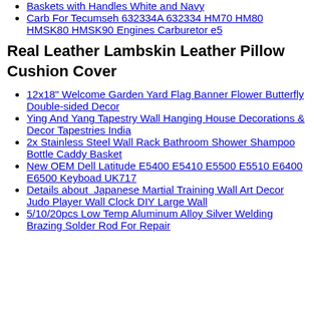Baskets with Handles White and Navy
Carb For Tecumseh 632334A 632334 HM70 HM80 HMSK80 HMSK90 Engines Carburetor e5
Real Leather Lambskin Leather Pillow Cushion Cover
12x18" Welcome Garden Yard Flag Banner Flower Butterfly Double-sided Decor
Ying And Yang Tapestry Wall Hanging House Decorations & Decor Tapestries India
2x Stainless Steel Wall Rack Bathroom Shower Shampoo Bottle Caddy Basket
New OEM Dell Latitude E5400 E5410 E5500 E5510 E6400 E6500 Keyboad UK717
Details about  Japanese Martial Training Wall Art Decor Judo Player Wall Clock DIY Large Wall
5/10/20pcs Low Temp Aluminum Alloy Silver Welding Brazing Solder Rod For Repair